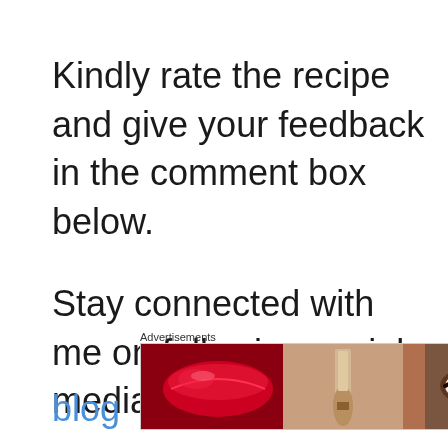Kindly rate the recipe and give your feedback in the comment box below.
Stay connected with me on following social medias.... Follow
blog  YouTube Channel
Advertisements
[Figure (other): ULTA beauty advertisement banner showing makeup images including red lips, makeup brush, eye closeup, ULTA logo, smoky eye, and SHOP NOW button]